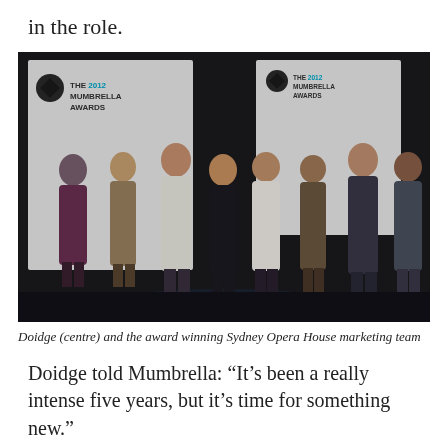in the role.
[Figure (photo): Group photo of people standing on a dark stage at The 2012 Mumbrella Awards ceremony. Two large white backdrops with 'THE 2012 MUMBRELLA AWARDS' logos are visible behind the group.]
Doidge (centre) and the award winning Sydney Opera House marketing team
Doidge told Mumbrella: “It’s been a really intense five years, but it’s time for something new.”
Last year Sydney Opera House’s marketing team